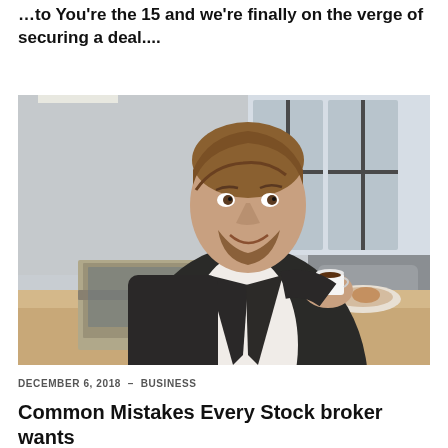…to You're the 15 and we're finally on the verge of securing a deal....
[Figure (photo): A smiling businessman in a dark suit holding a coffee cup, sitting at a desk with an open laptop, documents, and a plate. Office background with large windows.]
DECEMBER 6, 2018 – BUSINESS
Common Mistakes Every Stock broker wants